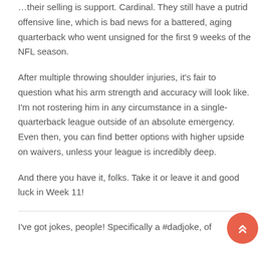...their selling is support. Cardinal. They still have a putrid offensive line, which is bad news for a battered, aging quarterback who went unsigned for the first 9 weeks of the NFL season.
After multiple throwing shoulder injuries, it's fair to question what his arm strength and accuracy will look like. I'm not rostering him in any circumstance in a single-quarterback league outside of an absolute emergency. Even then, you can find better options with higher upside on waivers, unless your league is incredibly deep.
And there you have it, folks. Take it or leave it and good luck in Week 11!
I've got jokes, people! Specifically a #dadjoke, of